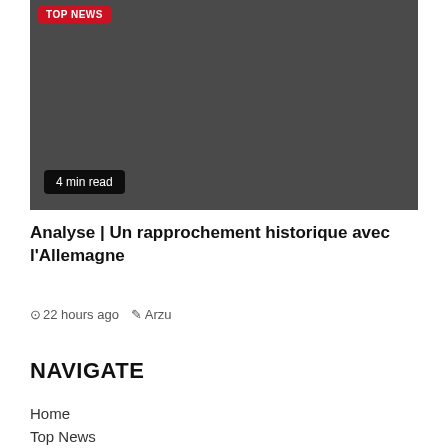[Figure (photo): Dark gray image placeholder with a TOP NEWS badge in red at top left and a '4 min read' label in a dark pill at bottom left]
Analyse | Un rapprochement historique avec l'Allemagne
22 hours ago  Arzu
NAVIGATE
Home
Top News